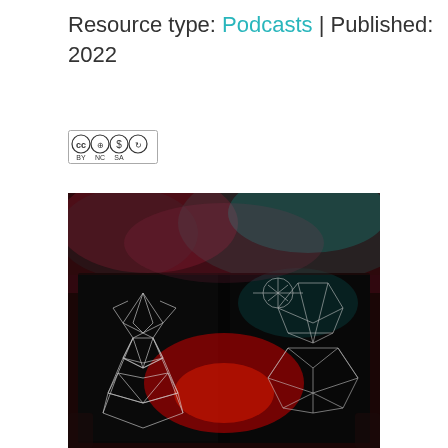Resource type: Podcasts | Published: 2022
[Figure (logo): Creative Commons CC BY NC SA license badge]
[Figure (photo): Person holding open a dark book with glowing geometric animal wireframe illustrations in red and cyan light]